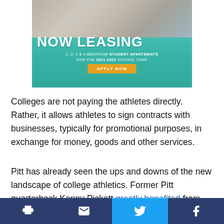[Figure (illustration): Advertisement banner: 'NOW LEASING - 1, 2, 3 & 4 BEDROOM STUDENT APARTMENTS FOR THE 2021-2022 SCHOOL YEAR' with an APPLY NOW button, teal background with photo of student in apartment]
Colleges are not paying the athletes directly. Rather, it allows athletes to sign contracts with businesses, typically for promotional purposes, in exchange for money, goods and other services.
Pitt has already seen the ups and downs of the new landscape of college athletics. Former Pitt quarterback Kenny Pickett greatly benefited from the
[Figure (infographic): Social sharing bar with print, email, Twitter, and Facebook icons]